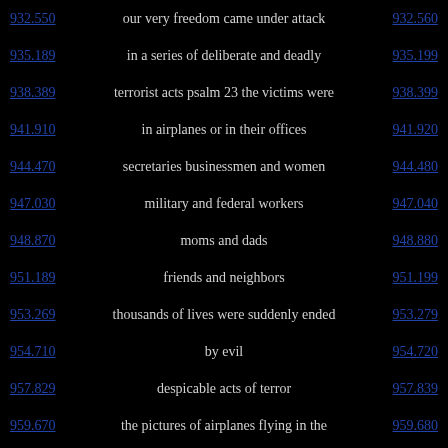932.550  our very freedom came under attack  932.560
935.189  in a series of deliberate and deadly  935.199
938.389  terrorist acts psalm 23 the victims were  938.399
941.910  in airplanes or in their offices  941.920
944.470  secretaries businessmen and women  944.480
947.030  military and federal workers  947.040
948.870  moms and dads  948.880
951.189  friends and neighbors  951.199
953.269  thousands of lives were suddenly ended  953.279
954.710  by evil  954.720
957.829  despicable acts of terror  957.839
959.670  the pictures of airplanes flying in the  959.680